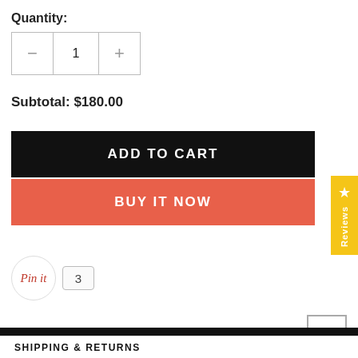Quantity:
- 1 +
Subtotal: $180.00
ADD TO CART
BUY IT NOW
Pin it  3
PRODUCT DESCRIPTION
SHIPPING & RETURNS